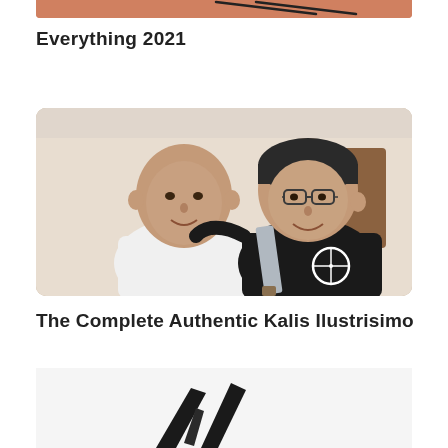[Figure (photo): Partial top image cropped at top of page, showing warm salmon/coral background with partial figures]
Everything 2021
[Figure (photo): Two men posing together smiling: an older bald man in white t-shirt on the left, and a middle-aged man wearing glasses and black t-shirt holding a blade/kali weapon on the right. Photo has rounded corners.]
The Complete Authentic Kalis Ilustrisimo
[Figure (photo): Partial bottom image showing dark weapon or blade shapes against light background, cropped at bottom of page]